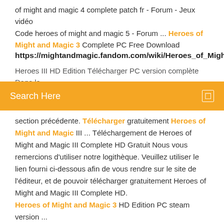of might and magic 4 complete patch fr - Forum - Jeux vidéo Code heroes of might and magic 5 - Forum ... Heroes of Might and Magic 3 Complete PC Free Download
https://mightandmagic.fandom.com/wiki/Heroes_of_Migh
Heroes III HD Edition Télécharger PC version complète Dans la
Search Here
section précédente. Télécharger gratuitement Heroes of Might and Magic III ... Téléchargement de Heroes of Might and Magic III Complete HD Gratuit Nous vous remercions d'utiliser notre logithèque. Veuillez utiliser le lien fourni ci-dessous afin de vous rendre sur le site de l'éditeur, et de pouvoir télécharger gratuitement Heroes of Might and Magic III Complete HD. Heroes of Might and Magic 3 HD Edition PC steam version ... Heroes of Might and Magic 3 HD Edition PC steam version complete activation ou Télécharger jeux gratuit 7 May 2015 26